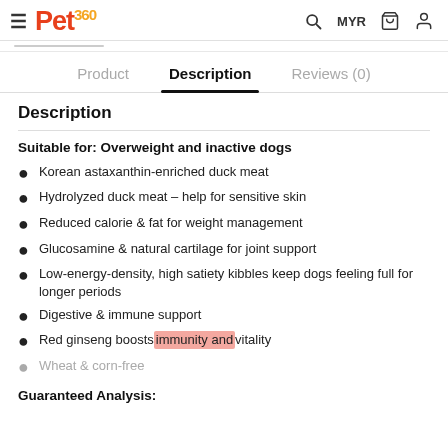Pet360 — MYR, search, cart, account icons
Product   Description   Reviews (0)
Description
Suitable for: Overweight and inactive dogs
Korean astaxanthin-enriched duck meat
Hydrolyzed duck meat – help for sensitive skin
Reduced calorie & fat for weight management
Glucosamine & natural cartilage for joint support
Low-energy-density, high satiety kibbles keep dogs feeling full for longer periods
Digestive & immune support
Red ginseng boosts immunity and vitality
Wheat & corn-free
Guaranteed Analysis: